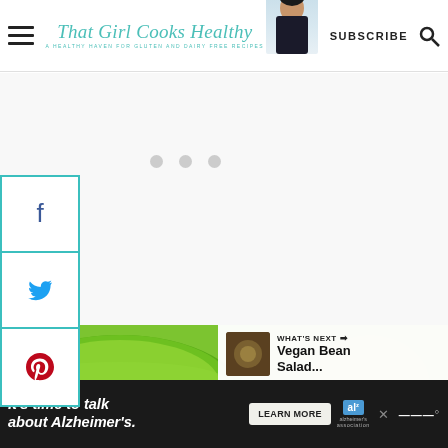That Girl Cooks Healthy — A healthy haven for gluten and dairy free recipes | SUBSCRIBE
[Figure (screenshot): Website screenshot showing social share sidebar with Facebook, Twitter, Pinterest icons in teal border; blank white content area with loading dots; food photo of green bowl; What's Next overlay showing Vegan Bean Salad...; Alzheimer's ad banner at bottom]
WHAT'S NEXT → Vegan Bean Salad...
It's time to talk about Alzheimer's.
LEARN MORE